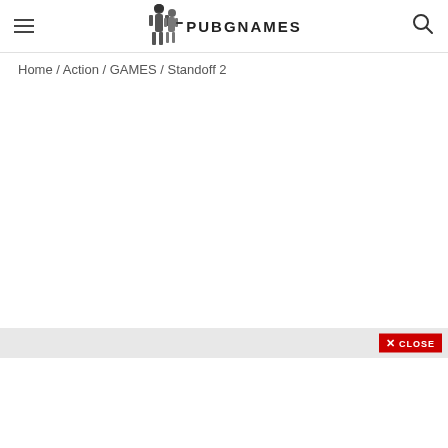PUBGNAMES
Home / Action / GAMES / Standoff 2
[Figure (other): Gray horizontal ad banner with a red CLOSE button]
[Figure (other): White content area below the ad banner]